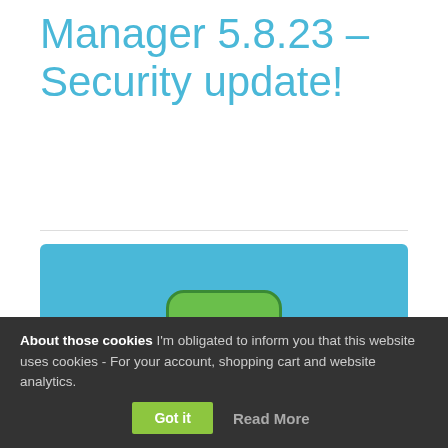Manager 5.8.23 – Security update!
[Figure (logo): AdRotate Banner Manager logo: green 'Ad' icon on blue background with white text 'AdRotate Banner Manager' and tagline 'Your adverts, easily managed!']
This update fixes several low risk security flaws when
About those cookies I'm obligated to inform you that this website uses cookies - For your account, shopping cart and website analytics. Got it  Read More